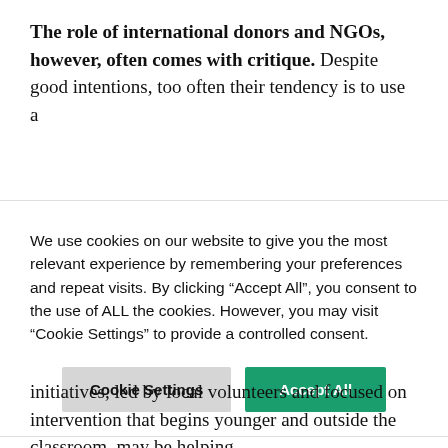The role of international donors and NGOs, however, often comes with critique. Despite good intentions, too often their tendency is to use a
We use cookies on our website to give you the most relevant experience by remembering your preferences and repeat visits. By clicking “Accept All”, you consent to the use of ALL the cookies. However, you may visit "Cookie Settings" to provide a controlled consent.
initiatives, led by local volunteers and focused on intervention that begins younger and outside the classroom, may be helping.
Born in a refugee camp in Jenash, the impoverished